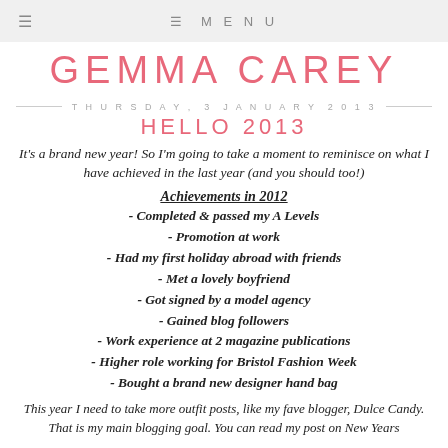≡ MENU
GEMMA CAREY
THURSDAY, 3 JANUARY 2013
HELLO 2013
It's a brand new year! So I'm going to take a moment to reminisce on what I have achieved in the last year (and you should too!)
Achievements in 2012
- Completed & passed my A Levels
- Promotion at work
- Had my first holiday abroad with friends
- Met a lovely boyfriend
- Got signed by a model agency
- Gained blog followers
- Work experience at 2 magazine publications
- Higher role working for Bristol Fashion Week
- Bought a brand new designer hand bag
This year I need to take more outfit posts, like my fave blogger, Dulce Candy. That is my main blogging goal. You can read my post on New Years…